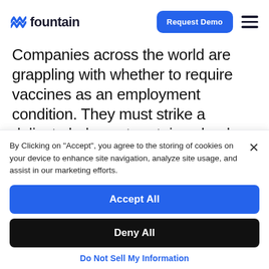[Figure (logo): Fountain logo with blue zigzag icon and 'fountain' wordmark in dark navy]
Companies across the world are grappling with whether to require vaccines as an employment condition. They must strike a delicate balance to retain valued employees and still be able to
By Clicking on "Accept", you agree to the storing of cookies on your device to enhance site navigation, analyze site usage, and assist in our marketing efforts.
Accept All
Deny All
Do Not Sell My Information